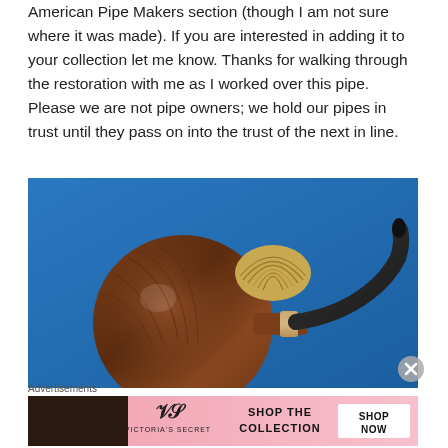American Pipe Makers section (though I am not sure where it was made). If you are interested in adding it to your collection let me know. Thanks for walking through the restoration with me as I worked over this pipe. Please we are not pipe owners; we hold our pipes in trust until they pass on into the trust of the next in line.
[Figure (photo): A briar smoking pipe with a rounded bowl and black curved stem, lying on a blue surface. The bowl shows wood grain and a decorative accent piece.]
Advertisements
[Figure (screenshot): Victoria's Secret advertisement banner showing a woman with curly hair on the left, the Victoria's Secret logo in the center, and 'SHOP THE COLLECTION' text with a 'SHOP NOW' button on the right, on a pink background.]